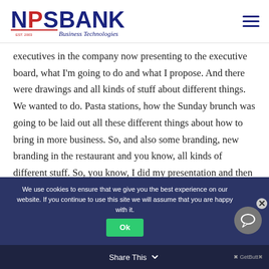NPS BANK Business Technologies
executives in the company now presenting to the executive board, what I'm going to do and what I propose. And there were drawings and all kinds of stuff about different things. We wanted to do. Pasta stations, how the Sunday brunch was going to be laid out all these different things about how to bring in more business. So, and also some branding, new branding in the restaurant and you know, all kinds of different stuff. So, you know, I did my presentation and then after the
We use cookies to ensure that we give you the best experience on our website. If you continue to use this site we will assume that you are happy with it.
Share This